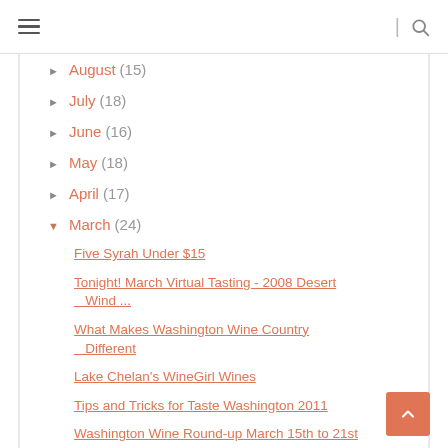≡ | 🔍
► August (15)
► July (18)
► June (16)
► May (18)
► April (17)
▼ March (24)
Five Syrah Under $15
Tonight! March Virtual Tasting - 2008 Desert Wind ...
What Makes Washington Wine Country Different
Lake Chelan's WineGirl Wines
Tips and Tricks for Taste Washington 2011
Washington Wine Round-up March 15th to 21st